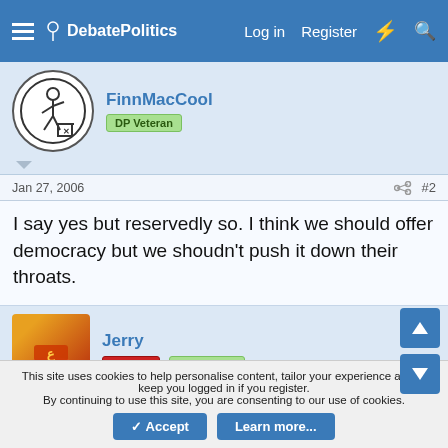DebatePolitics — Log in   Register
FinnMacCool
DP Veteran
Jan 27, 2006
#2
I say yes but reservedly so. I think we should offer democracy but we shoudn't push it down their throats.
Jerry
Banned   DP Veteran
Jan 28, 2006
#3
The United States does not negotiate nore do business with Terrorists.
This site uses cookies to help personalise content, tailor your experience and to keep you logged in if you register.
By continuing to use this site, you are consenting to our use of cookies.